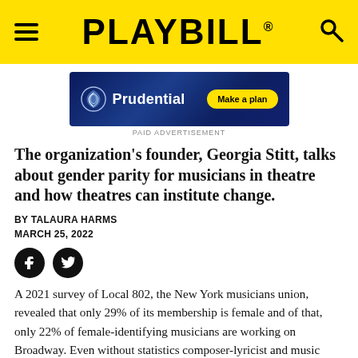PLAYBILL
[Figure (other): Prudential advertisement banner with logo and 'Make a plan' button on dark blue background]
PAID ADVERTISEMENT
The organization's founder, Georgia Stitt, talks about gender parity for musicians in theatre and how theatres can institute change.
BY TALAURA HARMS
MARCH 25, 2022
[Figure (other): Social media sharing icons: Facebook and Twitter]
A 2021 survey of Local 802, the New York musicians union, revealed that only 29% of its membership is female and of that, only 22% of female-identifying musicians are working on Broadway. Even without statistics composer-lyricist and music director Georgia Stitt knows that women in the music